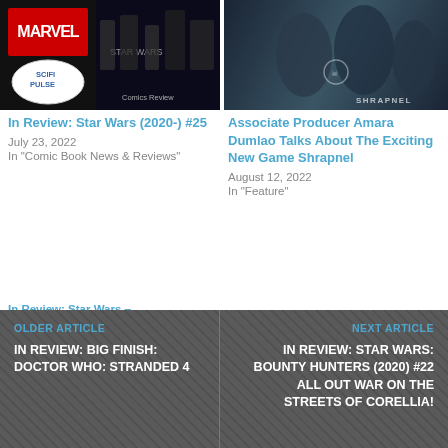[Figure (photo): Comic book cover collage with Marvel logo and Sci-Fi Pulse logo with Star Wars imagery]
In Review: Star Wars (2020-) #25
July 23, 2022
In "Comic Book News & Reviews"
[Figure (photo): Shrapnel game promotional artwork showing robotic/armored figures in combat]
Associate Producer Amara Dumlao Talks About The Exciting New Game Shrapnel
August 12, 2022
In "Feature"
In Review: Star Wars –
Obi-Wan Kenobi Part 3
OLDER ARTICLE
IN REVIEW: BIG FINISH: DOCTOR WHO: STRANDED 4
NEXT ARTICLE
IN REVIEW: STAR WARS: BOUNTY HUNTERS (2020) #22 ALL OUT WAR ON THE STREETS OF CORELLIA!